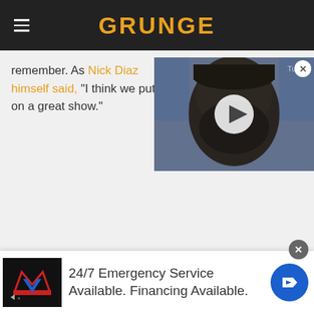GRUNGE
remember. As Nick Diaz himself said, "I think we put on a great show."
[Figure (photo): Video thumbnail showing a person at what appears to be a press conference, with a play button overlay. Blue background visible.]
24/7 Emergency Service Available. Financing Available.